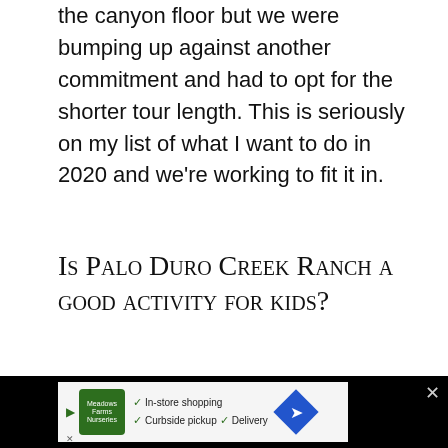Palo Duro Canyon which takes you all the way to the canyon floor but we were bumping up against another commitment and had to opt for the shorter tour length. This is seriously on my list of what I want to do in 2020 and we're working to fit it in.
Is Palo Duro Creek Ranch a good activity for kids?
My kids really enjoyed themselves at Palo Duro Creek Ranch. The bouncy jeep ride was probably their favorite part but they enjoyed the wide open spaces and the views, too. There were
[Figure (other): Advertisement banner at bottom of page: dark background with a grocery store ad showing in-store shopping, curbside pickup, and delivery options with a navigation icon]